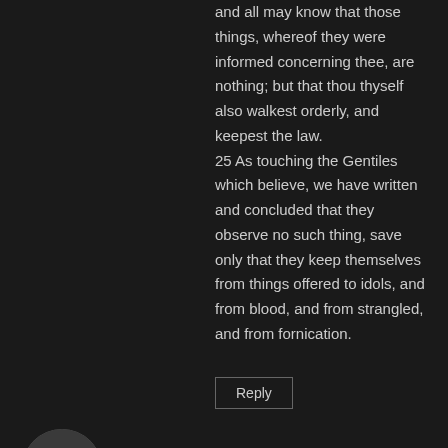and all may know that those things, whereof they were informed concerning thee, are nothing; but that thou thyself also walkest orderly, and keepest the law. 25 As touching the Gentiles which believe, we have written and concluded that they observe no such thing, save only that they keep themselves from things offered to idols, and from blood, and from strangled, and from fornication.
Reply
Nora  October 22, 2018 at 3:19 pm
12 And when we heard these things, both we, and they of that place, besought him not to go up to Jerusalem.
13 Then Paul answered, What mean ye to weep and